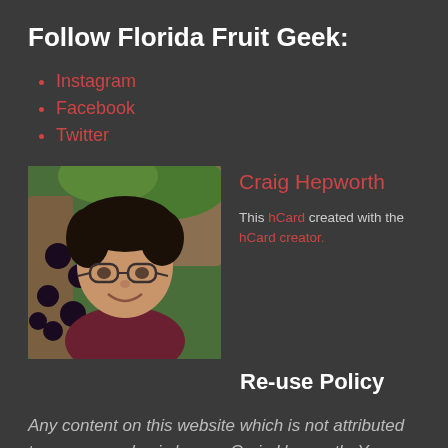Follow Florida Fruit Geek:
Instagram
Facebook
Twitter
[Figure (photo): Photo of Craig Hepworth, a man with curly dark hair and glasses, smiling next to a tree with dark round fruits (jabuticaba).]
Craig Hepworth
This hCard created with the hCard creator.
Re-use Policy
Any content on this website which is not attributed to someone else is by me, Craig Hepworth. You may re-use